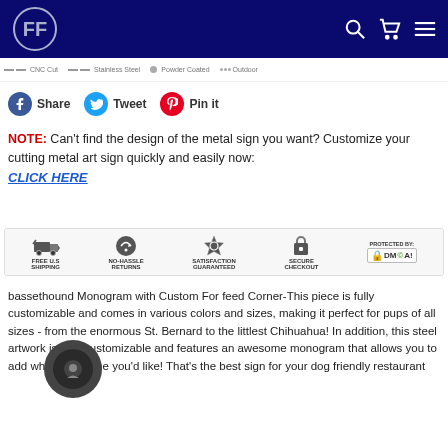FF logo, search, cart, menu icons
CNC Cut   Stainless Steel   Powder Coated   Outdoor
Share  Tweet  Pin it
NOTE:  Can't find the design of the metal sign you want? Customize your cutting metal art sign quickly and easily now: CLICK HERE
[Figure (infographic): Trust badge strip: FREE U.S SHIPPING, NO-HASSLE RETURNS, SATISFACTION GUARANTEED, SECURE CHECKOUT, PROTECTED BY: DMCA]
bassethound Monogram with Custom For feed Corner-This piece is fully customizable and comes in various colors and sizes, making it perfect for pups of all sizes - from the enormous St. Bernard to the littlest Chihuahua! In addition, this steel artwork is fully customizable and features an awesome monogram that allows you to add whatever name you'd like! That's the best sign for your dog friendly restaurant